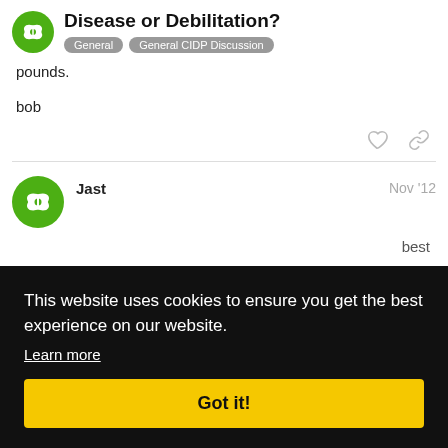Disease or Debilitation? | General | General CIDP Discussion
pounds.
bob
Jast  Nov '12
best use to s uch
This website uses cookies to ensure you get the best experience on our website. Learn more Got it!